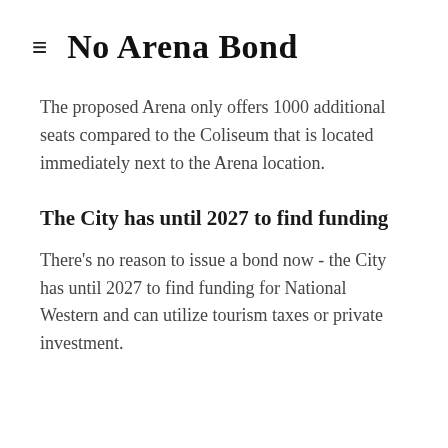No Arena Bond
The proposed Arena only offers 1000 additional seats compared to the Coliseum that is located immediately next to the Arena location.
The City has until 2027 to find funding
There's no reason to issue a bond now - the City has until 2027 to find funding for National Western and can utilize tourism taxes or private investment.